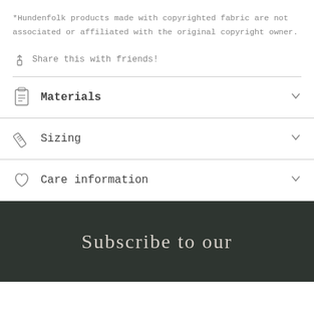*Hundenfolk products made with copyrighted fabric are not associated or affiliated with the original copyright owner.
Share this with friends!
Materials
Sizing
Care information
Subscribe to our